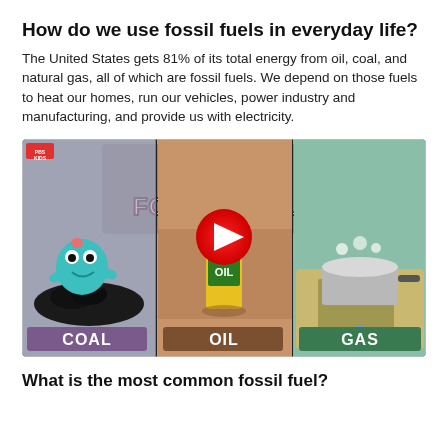How do we use fossil fuels in everyday life?
The United States gets 81% of its total energy from oil, coal, and natural gas, all of which are fossil fuels. We depend on those fuels to heat our homes, run our vehicles, power industry and manufacturing, and provide us with electricity.
[Figure (screenshot): Animated YouTube video thumbnail titled 'WHAT IS FOSSIL FUEL?' showing three panels: COAL (cartoon character on coal), OIL (oil bottle with YouTube play button overlay), and GAS (pot boiling on gas stove). Red YouTube play button in center.]
What is the most common fossil fuel?